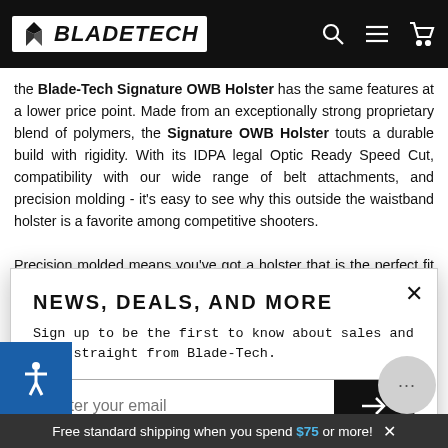BLADETECH
the Blade-Tech Signature OWB Holster has the same features at a lower price point. Made from an exceptionally strong proprietary blend of polymers, the Signature OWB Holster touts a durable build with rigidity. With its IDPA legal Optic Ready Speed Cut, compatibility with our wide range of belt attachments, and precision molding - it's easy to see why this outside the waistband holster is a favorite among competitive shooters.
Precision molded means you've got a holster that is the perfect fit for your firearm whether you are looking for an OWB 1911 holster or a
NEWS, DEALS, AND MORE
Sign up to be the first to know about sales and news straight from Blade-Tech.
Enter your email
This site is protected by reCAPTCHA and the Google Privacy Policy and Terms of Service apply.
Free standard shipping when you spend $75 or more!